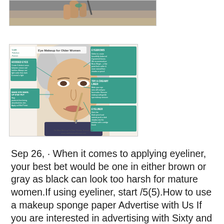[Figure (photo): Top portion of a photo showing a hand holding a makeup brush near a face, partially cropped]
[Figure (infographic): Eye Makeup for Older Women infographic from Look Fabulous Forever, showing a woman's face with callout boxes for HOODED EYES, MAKE EYE MAKEUP STAY PUT, EYEBROWS, TRY A CREAMY LINER, and EYELINER tips]
Sep 26, · When it comes to applying eyeliner, your best bet would be one in either brown or gray as black can look too harsh for mature women.If using eyeliner, start /5(5).How to use a makeup sponge paper Advertise with Us If you are interested in advertising with Sixty and Me, please contact us here.Makeup tricks for black women similar to this one is